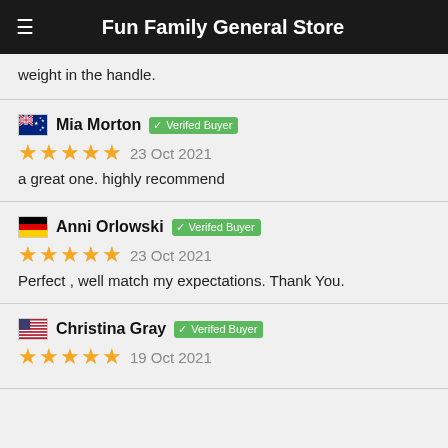Fun Family General Store
weight in the handle.
Mia Morton — Verifed Buyer — 23 Oct 2021 — a great one. highly recommend
Anni Orlowski — Verifed Buyer — 23 Oct 2021 — Perfect , well match my expectations. Thank You.
Christina Gray — Verifed Buyer — 19 Oct 2021